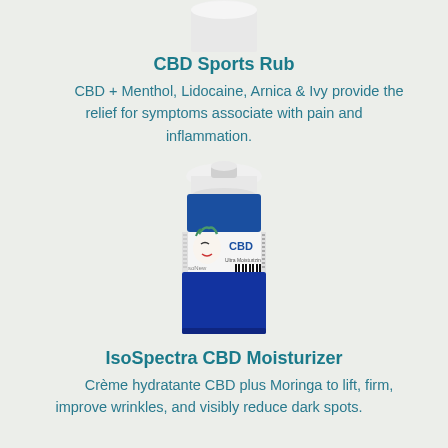[Figure (photo): Top portion of a white cylindrical CBD Sports Rub container against a light greenish-grey background]
CBD Sports Rub
CBD + Menthol, Lidocaine, Arnica & Ivy provide the relief for symptoms associate with pain and inflammation.
[Figure (photo): Blue cylindrical IsoSpectra CBD Moisturizer bottle with white cap and product label showing a face illustration and CBD branding]
IsoSpectra CBD Moisturizer
Crème hydratante CBD plus Moringa to lift, firm, improve wrinkles, and visibly reduce dark spots.